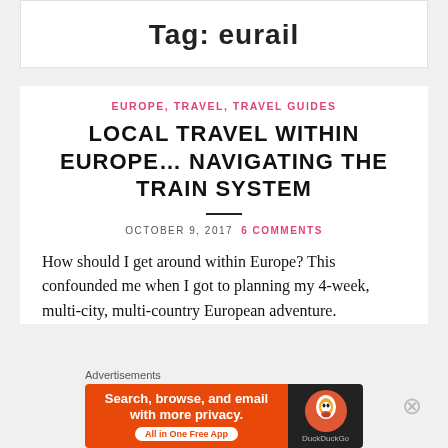Tag: eurail
EUROPE, TRAVEL, TRAVEL GUIDES
LOCAL TRAVEL WITHIN EUROPE… NAVIGATING THE TRAIN SYSTEM
OCTOBER 9, 2017   6 COMMENTS
How should I get around within Europe? This confounded me when I got to planning my 4-week, multi-city, multi-country European adventure.
Advertisements
[Figure (other): DuckDuckGo advertisement banner: Search, browse, and email with more privacy. All in One Free App]